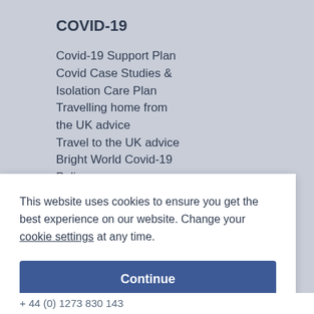COVID-19
Covid-19 Support Plan
Covid Case Studies & Isolation Care Plan
Travelling home from the UK advice
Travel to the UK advice
Bright World Covid-19 Policy
This website uses cookies to ensure you get the best experience on our website. Change your cookie settings at any time.
Continue
+ 44 (0) 1273 830 143